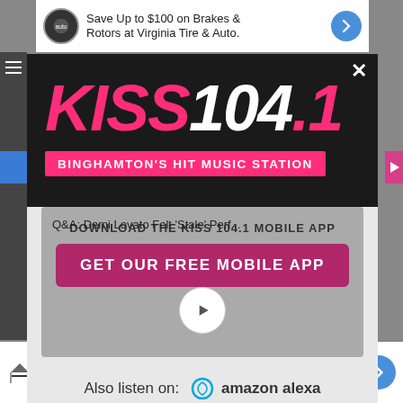[Figure (screenshot): Ad banner at top: Save Up to $100 on Brakes & Rotors at Virginia Tire & Auto]
[Figure (logo): KISS 104.1 radio station logo with tagline BINGHAMTON'S HIT MUSIC STATION on dark background modal overlay]
DOWNLOAD THE KISS 104.1 MOBILE APP
Q&A: Demi Lovato Felt 'Stale' Perf...
GET OUR FREE MOBILE APP
Also listen on:  amazon alexa
[Figure (screenshot): Ad banner at bottom: Save Up to $100 on Brakes & Rotors at Virginia Tire & Auto]